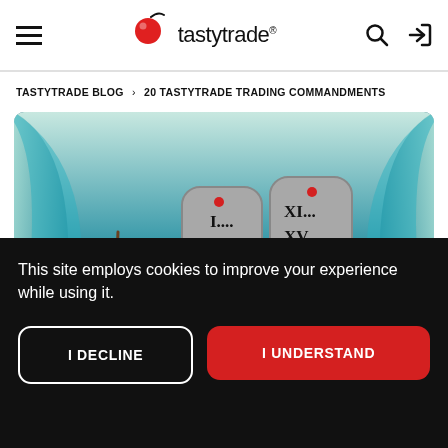tastytrade
TASTYTRADE BLOG > 20 TASTYTRADE TRADING COMMANDMENTS
[Figure (photo): Photo of a Moses-like figure parting the sea, holding two stone tablets inscribed with Roman numerals (I, V, X, XI, XV, XX), styled as trading commandments. Background shows dramatic parted ocean waves.]
This site employs cookies to improve your experience while using it.
I DECLINE
I UNDERSTAND